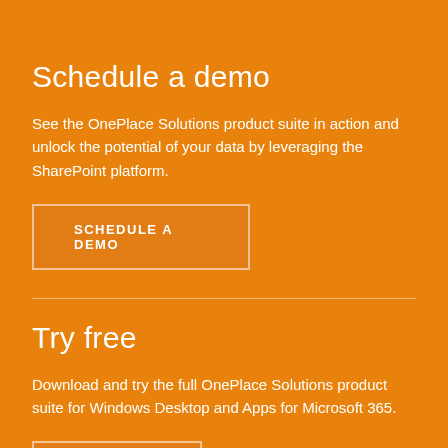Schedule a demo
See the OnePlace Solutions product suite in action and unlock the potential of your data by leveraging the SharePoint platform.
SCHEDULE A DEMO
Try free
Download and try the full OnePlace Solutions product suite for Windows Desktop and Apps for Microsoft 365.
GET STARTED